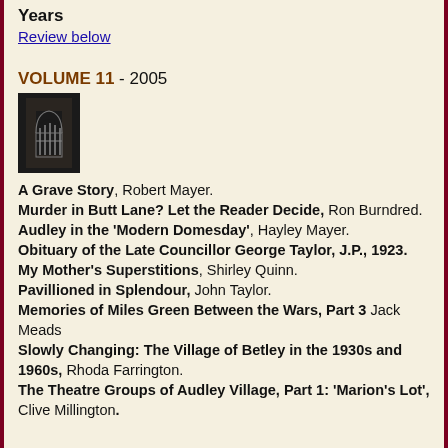Years
Review below
VOLUME 11 - 2005
[Figure (photo): Small thumbnail image of a book cover for Volume 11, showing a dark interior with a window/gate structure.]
A Grave Story, Robert Mayer.
Murder in Butt Lane? Let the Reader Decide, Ron Burndred.
Audley in the 'Modern Domesday', Hayley Mayer.
Obituary of the Late Councillor George Taylor, J.P., 1923.
My Mother's Superstitions, Shirley Quinn.
Pavillioned in Splendour, John Taylor.
Memories of Miles Green Between the Wars, Part 3 Jack Meads
Slowly Changing: The Village of Betley in the 1930s and 1960s, Rhoda Farrington.
The Theatre Groups of Audley Village, Part 1: 'Marion's Lot', Clive Millington.
VOLUME 10 - 2004
[Figure (photo): Small thumbnail image of a book cover for Volume 10, showing an outdoor scene with greenery.]